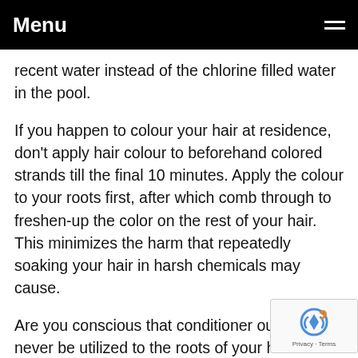Menu
recent water instead of the chlorine filled water in the pool.
If you happen to colour your hair at residence, don't apply hair colour to beforehand colored strands till the final 10 minutes. Apply the colour to your roots first, after which comb through to freshen-up the color on the rest of your hair. This minimizes the harm that repeatedly soaking your hair in harsh chemicals may cause.
Are you conscious that conditioner ought to never be utilized to the roots of your hair? It is because it can make them too heavy and weigh them down, causing a flat look. Only add the conditioner to your hair from mid-length all the way down underside of its ends for greatest outcomes.